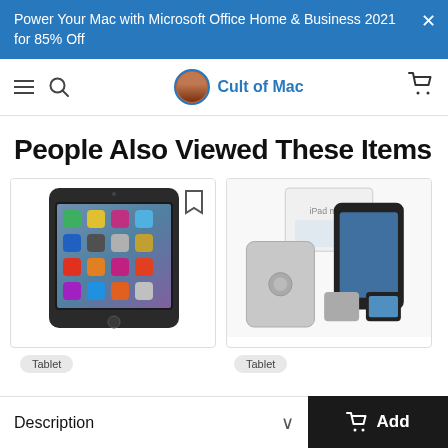Power Your Mac with Microsoft Office Home & Business 2021 for 85% Off
Cult of Mac
People Also Viewed These Items
[Figure (photo): iPad tablet product photo showing front face with app icons on screen]
Tablet
[Figure (photo): iPad tablet product bundle photo with box, device back, and front screen views]
Tablet
Description
Add